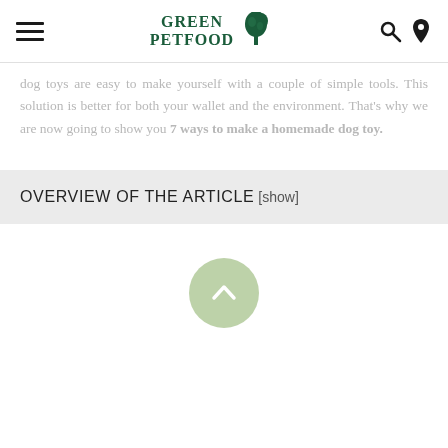GREEN PETFOOD [logo with tree icon, hamburger menu, search and location icons]
dog toys are easy to make yourself with a couple of simple tools. This solution is better for both your wallet and the environment. That's why we are now going to show you 7 ways to make a homemade dog toy.
OVERVIEW OF THE ARTICLE [show]
[Figure (illustration): A round green circle button with an upward-pointing chevron/arrow icon, indicating a scroll-to-top button.]